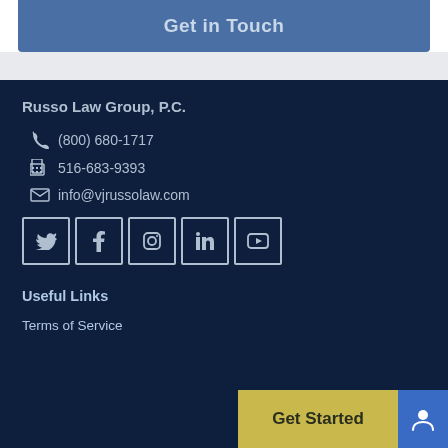Get in Touch
Russo Law Group, P.C.
(800) 680-1717
516-683-9393
info@vjrussolaw.com
[Figure (infographic): Social media icons in bordered boxes: Twitter, Facebook, Instagram, LinkedIn, YouTube]
Useful Links
Terms of Service
Get Started